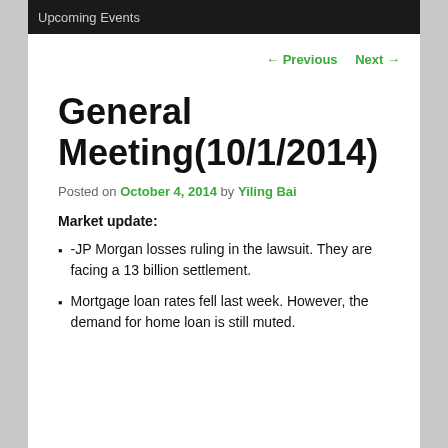Upcoming Events
← Previous   Next →
General Meeting(10/1/2014)
Posted on October 4, 2014 by Yiling Bai
Market update:
-JP Morgan losses ruling in the lawsuit. They are facing a 13 billion settlement.
Mortgage loan rates fell last week. However, the demand for home loan is still muted.